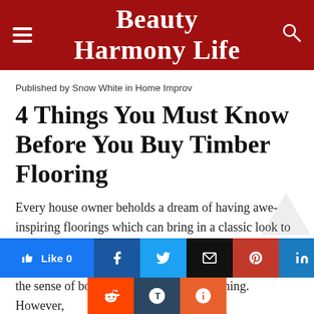Beauty Harmony Life
Published by Snow White in Home Improv
4 Things You Must Know Before You Buy Timber Flooring
Every house owner beholds a dream of having awe-inspiring floorings which can bring in a classic look to the house along with good vibes. Moreover, when the timber floorings are to be of hardwood, this procures the sense of both responsibility and designing. However,